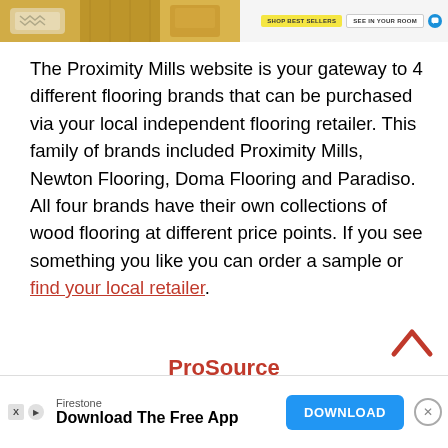[Figure (screenshot): Top portion of a website showing a flooring product image on the left with yellow/gold wood flooring, and navigation buttons on the right including 'SHOP BEST SELLERS', 'SEE IN YOUR ROOM', and a blue chat icon.]
The Proximity Mills website is your gateway to 4 different flooring brands that can be purchased via your local independent flooring retailer. This family of brands included Proximity Mills, Newton Flooring, Doma Flooring and Paradiso. All four brands have their own collections of wood flooring at different price points. If you see something you like you can order a sample or find your local retailer.
ProSource
[Figure (other): Back-to-top chevron arrow icon in red/crimson color]
[Figure (screenshot): Advertisement banner at bottom: Firestone brand, 'Download The Free App' text, blue DOWNLOAD button, and close X button]